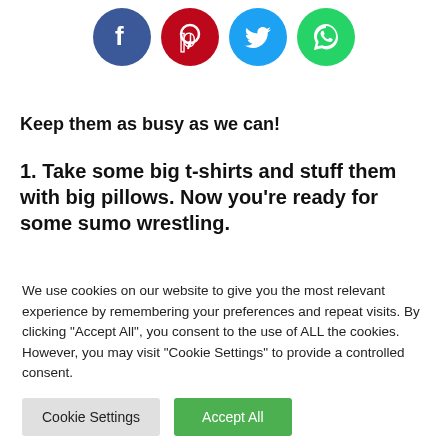[Figure (other): Social media share icons: Facebook (blue), Pinterest (red), Twitter (blue), WhatsApp (green)]
Keep them as busy as we can!
1. Take some big t-shirts and stuff them with big pillows. Now you're ready for some sumo wrestling.
[Figure (photo): Photo of an adult and a child seen from behind, appearing to wrestle or play together on a couch]
We use cookies on our website to give you the most relevant experience by remembering your preferences and repeat visits. By clicking "Accept All", you consent to the use of ALL the cookies. However, you may visit "Cookie Settings" to provide a controlled consent.